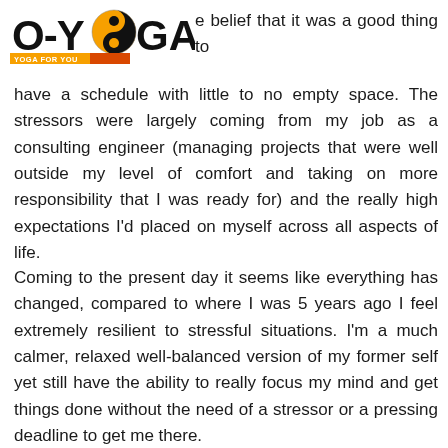[Figure (logo): O-YOGA logo with yin-yang symbol and orange/red bar with 'YOGA FOR YOU' text]
e belief that it was a good thing to have a schedule with little to no empty space. The stressors were largely coming from my job as a consulting engineer (managing projects that were well outside my level of comfort and taking on more responsibility that I was ready for) and the really high expectations I'd placed on myself across all aspects of life.
Coming to the present day it seems like everything has changed, compared to where I was 5 years ago I feel extremely resilient to stressful situations. I'm a much calmer, relaxed well-balanced version of my former self yet still have the ability to really focus my mind and get things done without the need of a stressor or a pressing deadline to get me there.